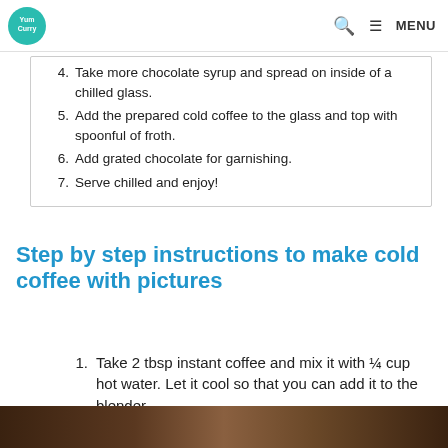Yum Curry [logo] | search | MENU
4. Take more chocolate syrup and spread on inside of a chilled glass.
5. Add the prepared cold coffee to the glass and top with spoonful of froth.
6. Add grated chocolate for garnishing.
7. Serve chilled and enjoy!
Step by step instructions to make cold coffee with pictures
1. Take 2 tbsp instant coffee and mix it with ¼ cup hot water. Let it cool so that you can add it to the blender.
[Figure (photo): Bottom strip showing a dark brown wooden or chopping board surface]